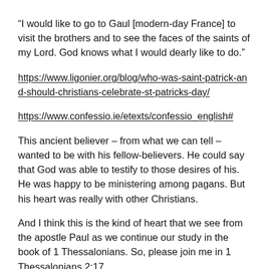“I would like to go to Gaul [modern-day France] to visit the brothers and to see the faces of the saints of my Lord. God knows what I would dearly like to do.”
https://www.ligonier.org/blog/who-was-saint-patrick-and-should-christians-celebrate-st-patricks-day/
https://www.confessio.ie/etexts/confessio_english#
This ancient believer – from what we can tell – wanted to be with his fellow-believers. He could say that God was able to testify to those desires of his. He was happy to be ministering among pagans. But his heart was really with other Christians.
And I think this is the kind of heart that we see from the apostle Paul as we continue our study in the book of 1 Thessalonians. So, please join me in 1 Thessalonians 2:17